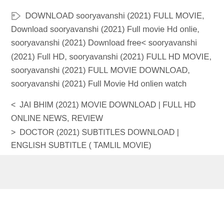🏷 DOWNLOAD sooryavanshi (2021) FULL MOVIE, Download sooryavanshi (2021) Full movie Hd onlie, sooryavanshi (2021) Download free< sooryavanshi (2021) Full HD, sooryavanshi (2021) FULL HD MOVIE, sooryavanshi (2021) FULL MOVIE DOWNLOAD, sooryavanshi (2021) Full Movie Hd onlien watch
< JAI BHIM (2021) MOVIE DOWNLOAD | FULL HD ONLINE NEWS, REVIEW
> DOCTOR (2021) SUBTITLES DOWNLOAD | ENGLISH SUBTITLE ( TAMLIL MOVIE)